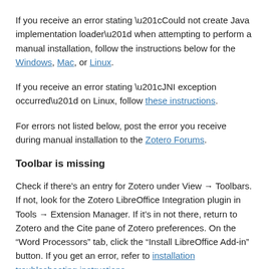If you receive an error stating “Could not create Java implementation loader” when attempting to perform a manual installation, follow the instructions below for the Windows, Mac, or Linux.
If you receive an error stating “JNI exception occurred” on Linux, follow these instructions.
For errors not listed below, post the error you receive during manual installation to the Zotero Forums.
Toolbar is missing
Check if there’s an entry for Zotero under View → Toolbars. If not, look for the Zotero LibreOffice Integration plugin in Tools → Extension Manager. If it’s in not there, return to Zotero and the Cite pane of Zotero preferences. On the “Word Processors” tab, click the “Install LibreOffice Add-in” button. If you get an error, refer to installation troubleshooting instructions.